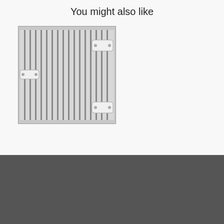You might also like
[Figure (photo): Photo of an aluminum heat sink with vertical fins and two mounting brackets/clips on the right side and left side center, viewed from the front at a slight angle.]
CONTACT US
Address: Room 201, Building 1, No. 4, Jizhi North Road, Humen Town, Dongguan, Guangdong, China